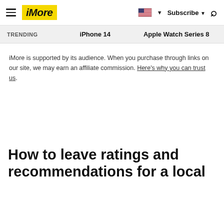iMore | iPhone 14 | Apple Watch Series 8 | Subscribe
iMore is supported by its audience. When you purchase through links on our site, we may earn an affiliate commission. Here's why you can trust us.
How to leave ratings and recommendations for a local business on iPhone with…